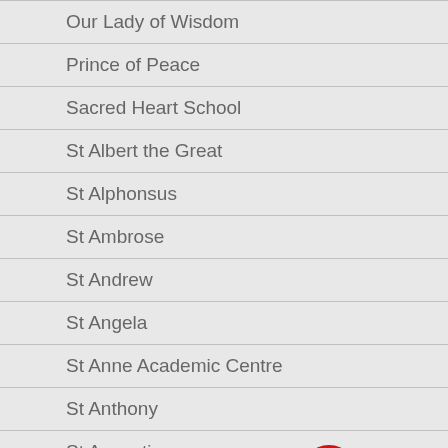Our Lady of Wisdom
Prince of Peace
Sacred Heart School
St Albert the Great
St Alphonsus
St Ambrose
St Andrew
St Angela
St Anne Academic Centre
St Anthony
St Augustine
[Figure (illustration): Red circular wheelchair accessibility icon with white wheelchair user figure]